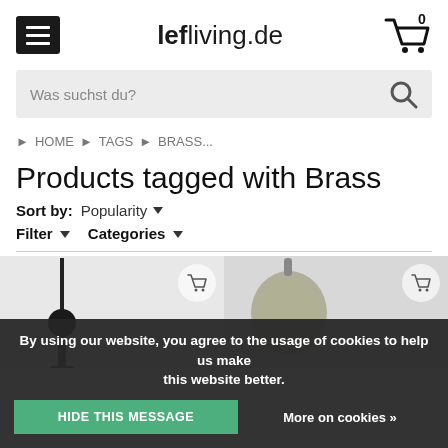[Figure (screenshot): lefliving.de website header with hamburger menu icon, logo, and shopping cart icon with 0 count]
[Figure (screenshot): Search bar with placeholder text 'Was suchst du?' and magnifying glass icon]
HOME ▶ TAGS ▶ BRASS...
Products tagged with Brass
Sort by: Popularity ▼
Filter ▼ Categories ▼
[Figure (photo): Two product images partially visible at bottom: a lamp on the left and a glass bulb/lamp on the right, each with a shopping cart overlay circle]
By using our website, you agree to the usage of cookies to help us make this website better. HIDE THIS MESSAGE More on cookies »